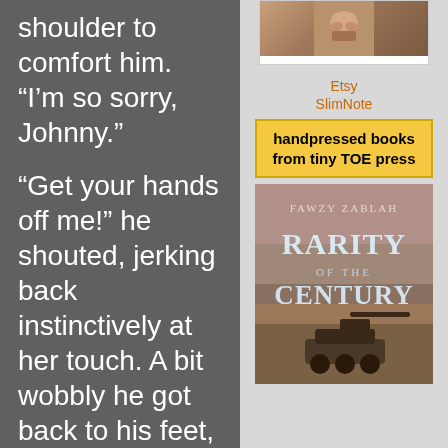shoulder to comfort him. “I’m so sorry, Johnny.”

“Get your hands off me!” he shouted, jerking back instinctively at her touch. A bit wobbly he got back to his feet, looking down
[Figure (photo): Close-up photo of hands, possibly clasped together]
Etsy SlimNote
handpressed books from tiny TOE press
[Figure (photo): Book cover: Fawzy Zablah - Rarity of the Century, showing desert landscape with tank]